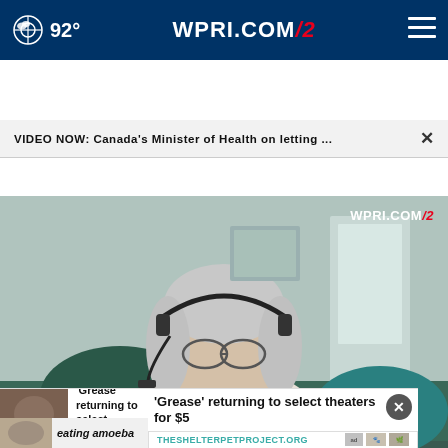92° WPRI.COM/12
VIDEO NOW: Canada's Minister of Health on letting ...
[Figure (screenshot): Video screenshot of Patty Hadju, Canada Minister of Health, speaking via video call with WPRI.COM/12 watermark in top right. Lower third chyron reads: Patty Hadju / Canada Minister of Health]
‘Grease’ returning to select theaters for $5
THESHELTERPETPROJECT.ORG
eating amoeba